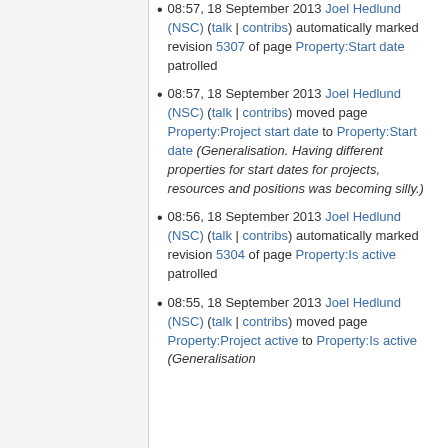08:57, 18 September 2013 Joel Hedlund (NSC) (talk | contribs) automatically marked revision 5307 of page Property:Start date patrolled
08:57, 18 September 2013 Joel Hedlund (NSC) (talk | contribs) moved page Property:Project start date to Property:Start date (Generalisation. Having different properties for start dates for projects, resources and positions was becoming silly.)
08:56, 18 September 2013 Joel Hedlund (NSC) (talk | contribs) automatically marked revision 5304 of page Property:Is active patrolled
08:55, 18 September 2013 Joel Hedlund (NSC) (talk | contribs) moved page Property:Project active to Property:Is active (Generalisation...